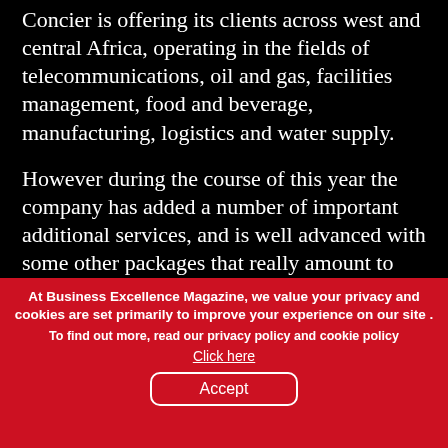Concier is offering its clients across west and central Africa, operating in the fields of telecommunications, oil and gas, facilities management, food and beverage, manufacturing, logistics and water supply.
However during the course of this year the company has added a number of important additional services, and is well advanced with some other packages that really amount to diversification, so far do they take the basic proposition. First off is a software package specifically targeted at telecoms
At Business Excellence Magazine, we value your privacy and cookies are set primarily to improve your experience on our site . To find out more, read our privacy policy and cookie policy Click here Accept